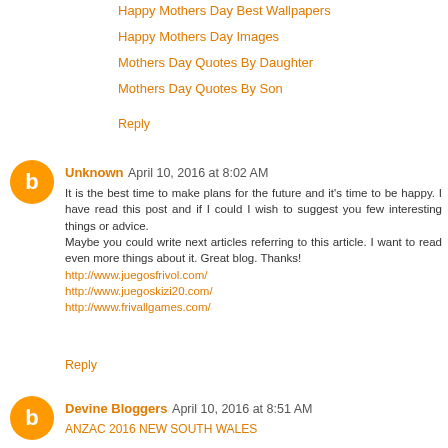Happy Mothers Day Best Wallpapers
Happy Mothers Day Images
Mothers Day Quotes By Daughter
Mothers Day Quotes By Son
Reply
Unknown  April 10, 2016 at 8:02 AM
It is the best time to make plans for the future and it's time to be happy. I have read this post and if I could I wish to suggest you few interesting things or advice.
Maybe you could write next articles referring to this article. I want to read even more things about it. Great blog. Thanks!
http://www.juegosfrivol.com/
http://www.juegoskizi20.com/
http://www.frivallgames.com/
Reply
Devine Bloggers  April 10, 2016 at 8:51 AM
ANZAC 2016 NEW SOUTH WALES